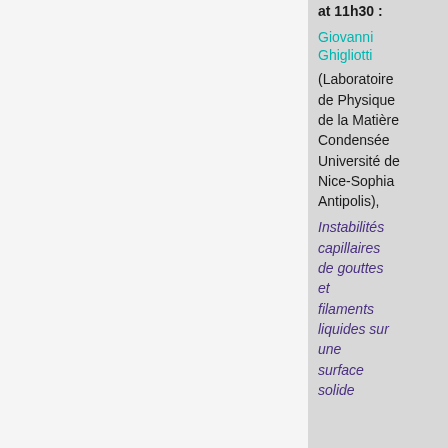at 11h30 :
Giovanni Ghigliotti
(Laboratoire de Physique de la Matière Condensée Université de Nice-Sophia Antipolis),
Instabilités capillaires de gouttes et filaments liquides sur une surface solide